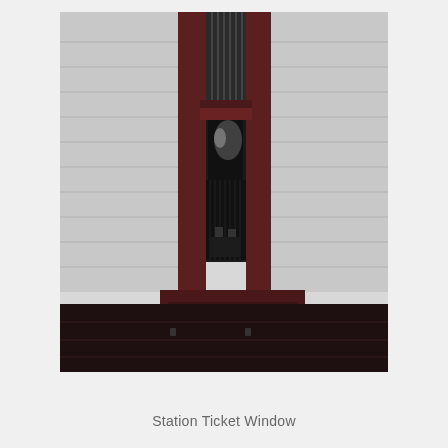[Figure (photo): A photograph of a station ticket window. The image shows a narrow tall window with dark reddish-brown wooden frame and a metal bar grille at the top. The surrounding walls are covered in white horizontal siding (clapboard). Below the window is dark wood wainscoting paneling. The interior behind the window is dark.]
Station Ticket Window